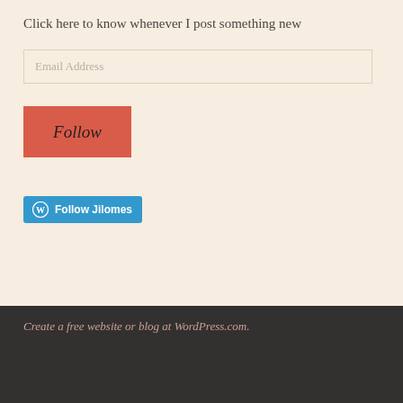Click here to know whenever I post something new
Email Address
Follow
[Figure (other): WordPress Follow button with WordPress logo icon and text 'Follow Jilomes' on blue background]
Create a free website or blog at WordPress.com.